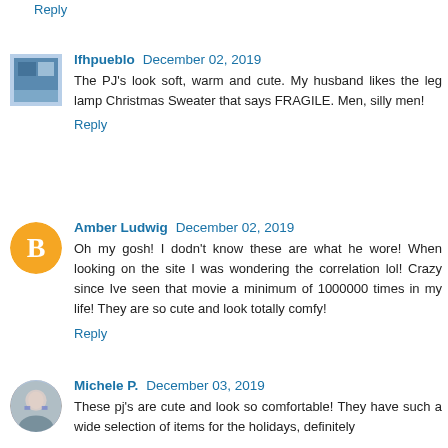Reply
lfhpueblo  December 02, 2019
The PJ's look soft, warm and cute. My husband likes the leg lamp Christmas Sweater that says FRAGILE. Men, silly men!
Reply
Amber Ludwig  December 02, 2019
Oh my gosh! I dodn't know these are what he wore! When looking on the site I was wondering the correlation lol! Crazy since Ive seen that movie a minimum of 1000000 times in my life! They are so cute and look totally comfy!
Reply
Michele P.  December 03, 2019
These pj's are cute and look so comfortable! They have such a wide selection of items for the holidays, definitely